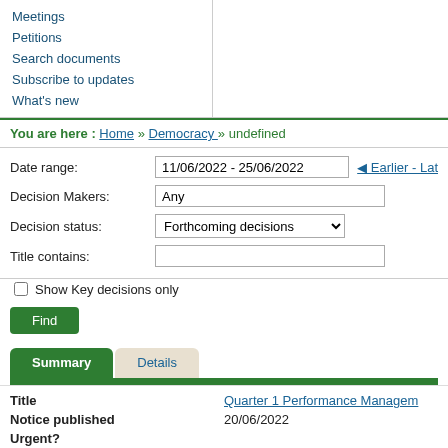Meetings
Petitions
Search documents
Subscribe to updates
What's new
You are here : Home » Democracy » undefined
Date range: 11/06/2022 - 25/06/2022 Earlier - Later
Decision Makers: Any
Decision status: Forthcoming decisions
Title contains:
Show Key decisions only
Find
Summary | Details
| Title | Quarter 1 Performance Management |
| --- | --- |
| Notice published | 20/06/2022 |
| Urgent? |  |
| Status | For Determination |